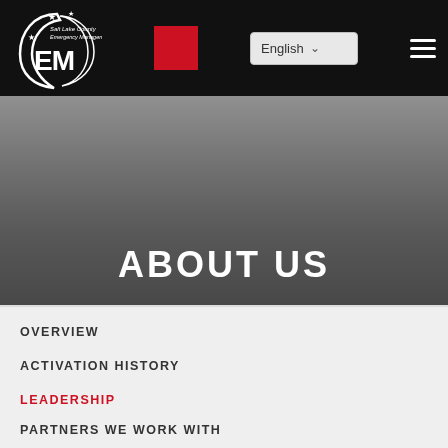[Figure (logo): Salt Lake County Emergency Management EM logo in white on black background]
ABOUT US
OVERVIEW
ACTIVATION HISTORY
LEADERSHIP
PARTNERS WE WORK WITH